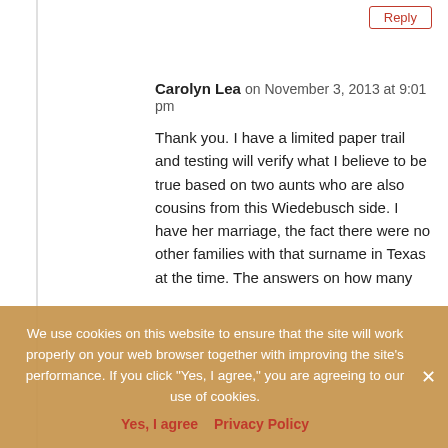Reply
Carolyn Lea on November 3, 2013 at 9:01 pm
Thank you. I have a limited paper trail and testing will verify what I believe to be true based on two aunts who are also cousins from this Wiedebusch side. I have her marriage, the fact there were no other families with that surname in Texas at the time. The answers on how many children living in 1900/1910 and what I know from my aunts. I am a direct female line and so is the distant and unknown to me 3rd cousin. I want to be certain there wasn't an earlier marriage as my g-grandmother would
We use cookies on this website to ensure that the site will work properly on your web browser together with improving the site's performance. If you click "Yes, I agree," you are agreeing to our use of cookies.
Yes, I agree   Privacy Policy